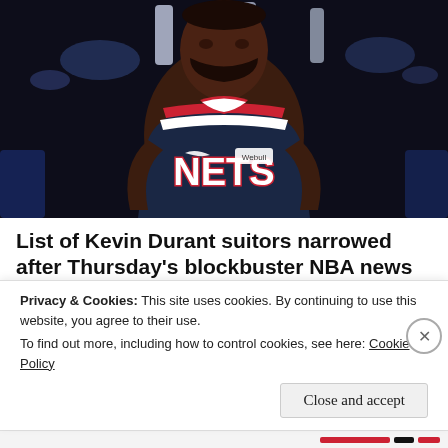[Figure (photo): Kevin Durant in Brooklyn Nets navy blue uniform with red and white stripes and 'NETS' text prominently displayed, looking upward against a dark arena background]
List of Kevin Durant suitors narrowed after Thursday's blockbuster NBA news
Sportsnaut
Rate This
Privacy & Cookies: This site uses cookies. By continuing to use this website, you agree to their use.
To find out more, including how to control cookies, see here: Cookie Policy
Close and accept